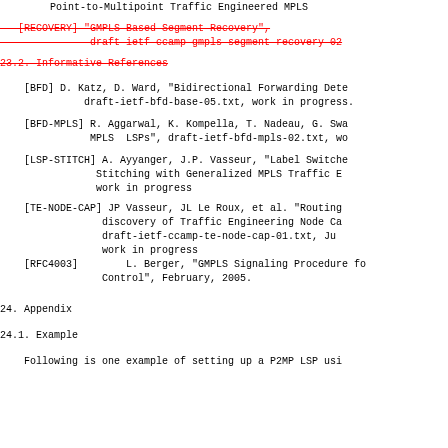Point-to-Multipoint Traffic Engineered MPLS
[RECOVERY] "GMPLS Based Segment Recovery", draft-ietf-ccamp-gmpls-segment-recovery-02 (deleted/strikethrough)
23.2. Informative References (deleted/strikethrough)
[BFD] D. Katz, D. Ward, "Bidirectional Forwarding Detection", draft-ietf-bfd-base-05.txt, work in progress.
[BFD-MPLS] R. Aggarwal, K. Kompella, T. Nadeau, G. Swallow, "LSP Ping for MPLS LSPs", draft-ietf-bfd-mpls-02.txt, work in progress.
[LSP-STITCH] A. Ayyanger, J.P. Vasseur, "Label Switched Path Stitching with Generalized MPLS Traffic Engineering", work in progress
[TE-NODE-CAP] JP Vasseur, JL Le Roux, et al. "Routing extensions for discovery of Traffic Engineering Node Capabilities", draft-ietf-ccamp-te-node-cap-01.txt, June 2005, work in progress
[RFC4003] L. Berger, "GMPLS Signaling Procedure for Generalized Control", February, 2005.
24. Appendix
24.1. Example
Following is one example of setting up a P2MP LSP using